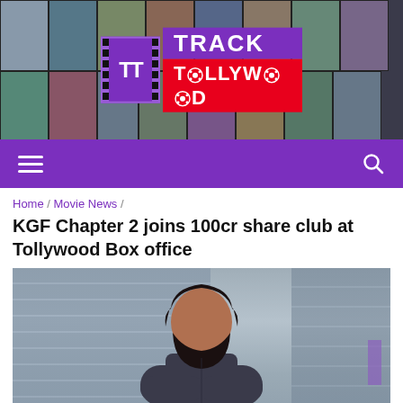[Figure (screenshot): Track Tollywood website header banner with movie poster collage background and logo in center]
[Figure (screenshot): Purple navigation bar with hamburger menu on left and search icon on right]
Home / Movie News /
KGF Chapter 2 joins 100cr share club at Tollywood Box office
[Figure (photo): Photo of actor with beard and dark shirt standing with arms crossed, possibly Yash from KGF Chapter 2]